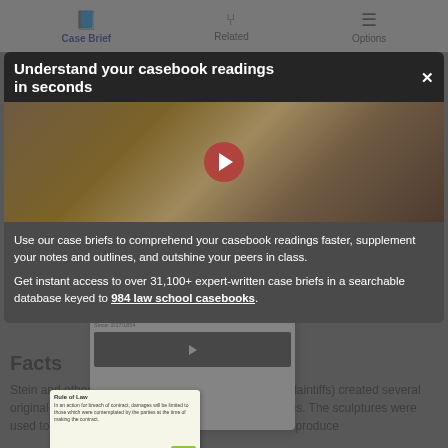Case Brief | Related | Options
Understand your casebook readings in seconds
Use our case briefs to comprehend your casebook readings faster, supplement your notes and outlines, and outshine your peers in class.
Get instant access to over 31,100+ expert-written case briefs in a searchable database keyed to 984 law school casebooks.
[Figure (screenshot): Screenshot of Hadley v. Baxendale case brief interface with video and briefing tools]
Facts
Stein and other partners in a lamp business (Stein) (plaintiffs) created several original sculptures shaped in the form of human figures. The sculptures were used to produce casts that would allow Stein to mass produce